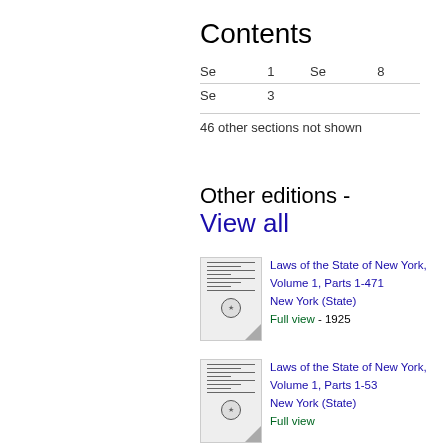Contents
| Se | 1 | Se | 8 |
| --- | --- | --- | --- |
| Se | 3 |  |  |
46 other sections not shown
Other editions - View all
Laws of the State of New York, Volume 1, Parts 1-471
New York (State)
Full view - 1925
Laws of the State of New York, Volume 1, Parts 1-53
New York (State)
Full view